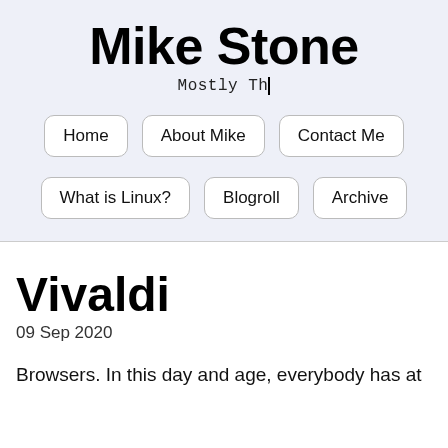Mike Stone
Mostly Th|
Home
About Mike
Contact Me
What is Linux?
Blogroll
Archive
Vivaldi
09 Sep 2020
Browsers. In this day and age, everybody has at